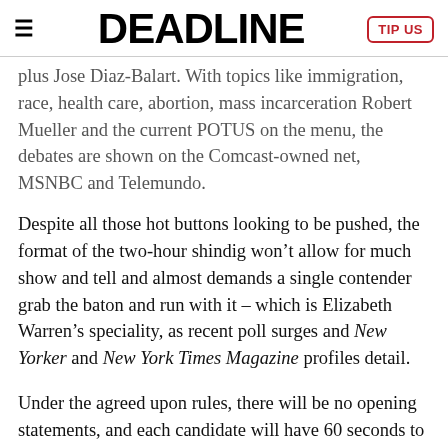DEADLINE
plus Jose Diaz-Balart. With topics like immigration, race, health care, abortion, mass incarceration Robert Mueller and the current POTUS on the menu, the debates are shown on the Comcast-owned net, MSNBC and Telemundo.
Despite all those hot buttons looking to be pushed, the format of the two-hour shindig won’t allow for much show and tell and almost demands a single contender grab the baton and run with it – which is Elizabeth Warren’s speciality, as recent poll surges and New Yorker and New York Times Magazine profiles detail.
Under the agreed upon rules, there will be no opening statements, and each candidate will have 60 seconds to answer questions, 30 seconds to follow up and closing remarks in the final half hour. If that doesn’t seem like a recipe for gridlock, add to the jambalaya